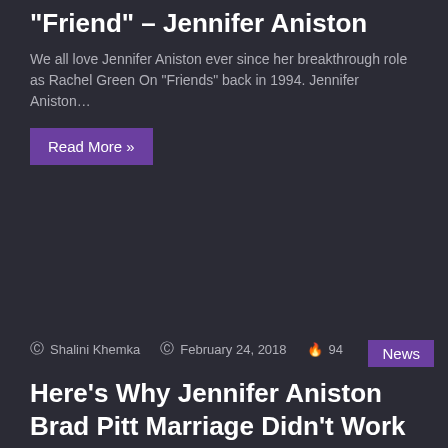“Friend” – Jennifer Aniston
We all love Jennifer Aniston ever since her breakthrough role as Rachel Green On “Friends” back in 1994. Jennifer Aniston…
Read More »
News
ⓘ Shalini Khemka  ⓘ February 24, 2018  🔥 94
Here’s Why Jennifer Aniston Brad Pitt Marriage Didn’t Work